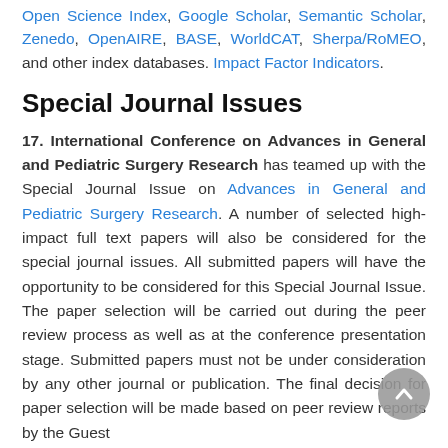Open Science Index, Google Scholar, Semantic Scholar, Zenedo, OpenAIRE, BASE, WorldCAT, Sherpa/RoMEO, and other index databases. Impact Factor Indicators.
Special Journal Issues
17. International Conference on Advances in General and Pediatric Surgery Research has teamed up with the Special Journal Issue on Advances in General and Pediatric Surgery Research. A number of selected high-impact full text papers will also be considered for the special journal issues. All submitted papers will have the opportunity to be considered for this Special Journal Issue. The paper selection will be carried out during the peer review process as well as at the conference presentation stage. Submitted papers must not be under consideration by any other journal or publication. The final decision for paper selection will be made based on peer review reports by the Guest